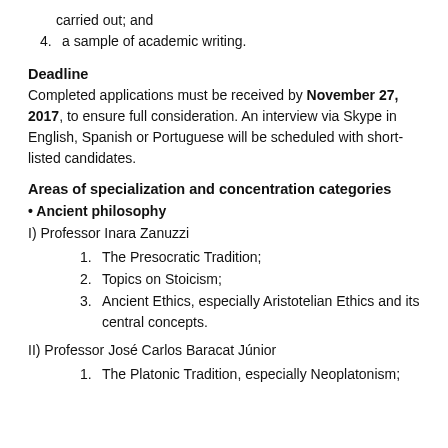carried out; and
4. a sample of academic writing.
Deadline
Completed applications must be received by November 27, 2017, to ensure full consideration. An interview via Skype in English, Spanish or Portuguese will be scheduled with short-listed candidates.
Areas of specialization and concentration categories
• Ancient philosophy
I) Professor Inara Zanuzzi
1. The Presocratic Tradition;
2. Topics on Stoicism;
3. Ancient Ethics, especially Aristotelian Ethics and its central concepts.
II) Professor José Carlos Baracat Júnior
1. The Platonic Tradition, especially Neoplatonism;